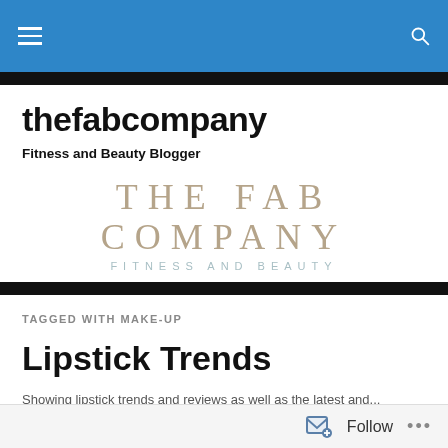thefabcompany — navigation header with hamburger menu and search icon
thefabcompany
Fitness and Beauty Blogger
[Figure (logo): The Fab Company Fitness and Beauty logo — large serif text 'THE FAB COMPANY' above smaller spaced text 'FITNESS AND BEAUTY' in muted teal]
TAGGED WITH MAKE-UP
Lipstick Trends
Snippet of article text, partially obscured at bottom of page
Follow  •••